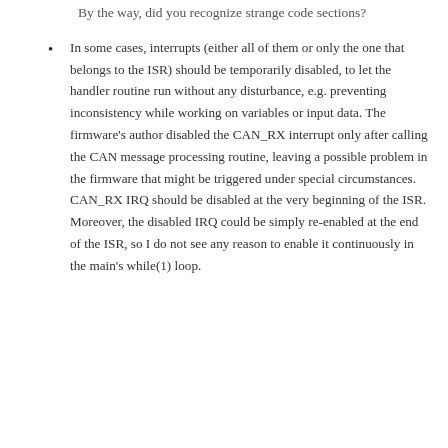By the way, did you recognize strange code sections?
In some cases, interrupts (either all of them or only the one that belongs to the ISR) should be temporarily disabled, to let the handler routine run without any disturbance, e.g. preventing inconsistency while working on variables or input data. The firmware's author disabled the CAN_RX interrupt only after calling the CAN message processing routine, leaving a possible problem in the firmware that might be triggered under special circumstances. CAN_RX IRQ should be disabled at the very beginning of the ISR. Moreover, the disabled IRQ could be simply re-enabled at the end of the ISR, so I do not see any reason to enable it continuously in the main's while(1) loop.